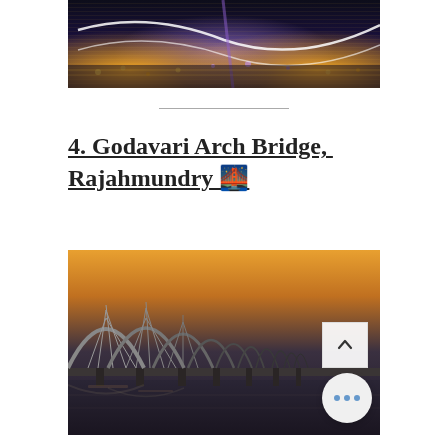[Figure (photo): Nighttime photo of an illuminated bridge reflected on water, with glowing light streaks in purple and gold]
4. Godavari Arch Bridge, Rajahmundry 🌉
[Figure (photo): Sunset photo of the Godavari Arch Bridge in Rajahmundry showing multiple steel arches over water with golden sky and a scroll-up button overlay]